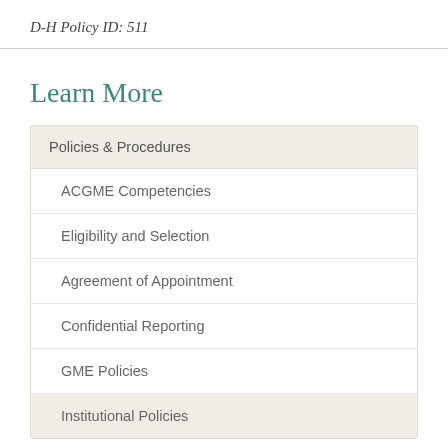D-H Policy ID: 511
Learn More
Policies & Procedures
ACGME Competencies
Eligibility and Selection
Agreement of Appointment
Confidential Reporting
GME Policies
Institutional Policies